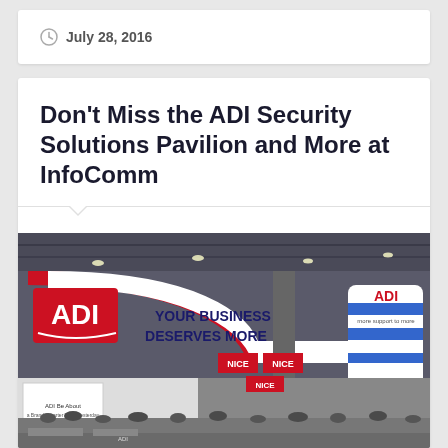July 28, 2016
Don't Miss the ADI Security Solutions Pavilion and More at InfoComm
[Figure (photo): ADI trade show booth at InfoComm. Large curved banner reads 'ADI YOUR BUSINESS DESERVES MORE'. Cylindrical ADI branded column on right. Exhibition floor with many attendees and vendor booths including NICE brand signage.]